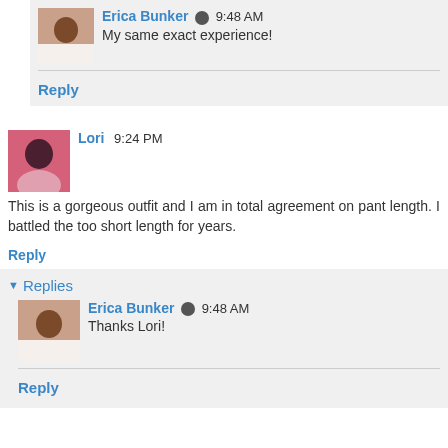Erica Bunker  9:48 AM
My same exact experience!
Reply
Lori  9:24 PM
This is a gorgeous outfit and I am in total agreement on pant length. I battled the too short length for years.
Reply
Replies
Erica Bunker  9:48 AM
Thanks Lori!
Reply